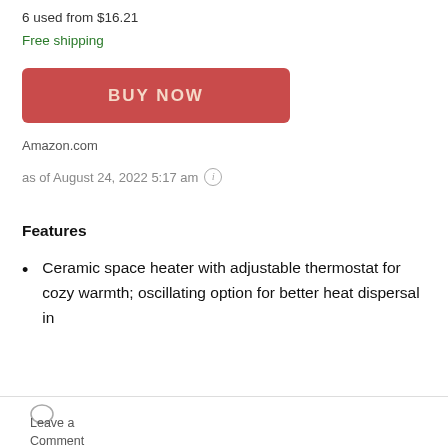6 used from $16.21
Free shipping
[Figure (other): Red BUY NOW button]
Amazon.com
as of August 24, 2022 5:17 am (i)
Features
Ceramic space heater with adjustable thermostat for cozy warmth; oscillating option for better heat dispersal in
Leave a Comment